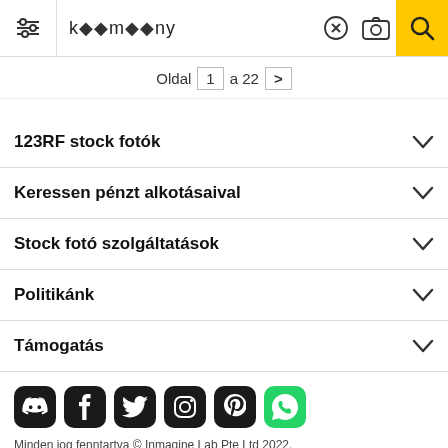[Figure (screenshot): Search bar with filter icon, search text 'k??m??ny', clear (X) button, camera icon, and yellow search button with magnifying glass icon]
Oldal 1 a 22 >
123RF stock fotók
Keressen pénzt alkotásaival
Stock fotó szolgáltatások
Politikánk
Támogatás
[Figure (illustration): Row of social media icons: Discord, Facebook, Twitter, Instagram, Pinterest, WhatsApp]
Minden jog fenntartva © Inmagine Lab Pte Ltd 2022.